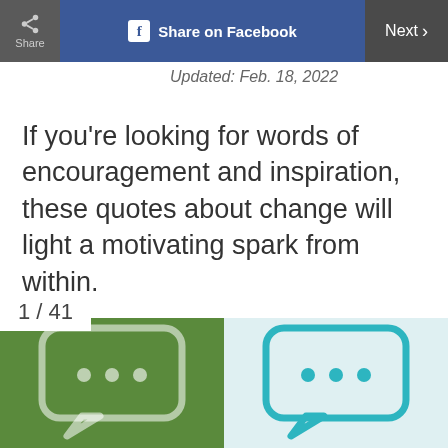Share | Share on Facebook | Next >
Updated: Feb. 18, 2022
If you're looking for words of encouragement and inspiration, these quotes about change will light a motivating spark from within.
1 / 41
[Figure (illustration): Two speech bubble icons side by side: left on green background, right (teal outline) on light blue background, both showing three dots inside.]